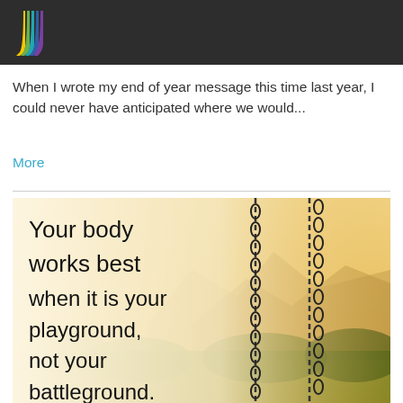[Figure (logo): Colorful striped J-shaped logo on dark background header bar]
When I wrote my end of year message this time last year, I could never have anticipated where we would...
More
[Figure (photo): Motivational quote image with warm golden/sepia background showing swing chains and nature. Text reads: Your body works best when it is your playground, not your battleground.]